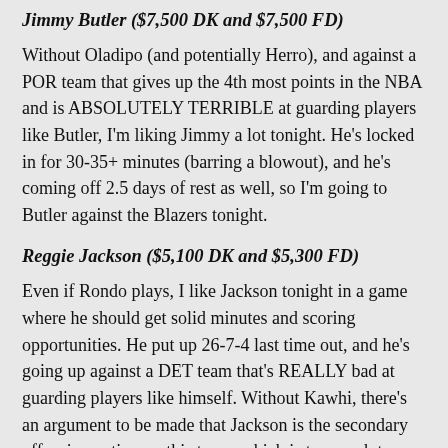Jimmy Butler ($7,500 DK and $7,500 FD)
Without Oladipo (and potentially Herro), and against a POR team that gives up the 4th most points in the NBA and is ABSOLUTELY TERRIBLE at guarding players like Butler, I'm liking Jimmy a lot tonight. He's locked in for 30-35+ minutes (barring a blowout), and he's coming off 2.5 days of rest as well, so I'm going to Butler against the Blazers tonight.
Reggie Jackson ($5,100 DK and $5,300 FD)
Even if Rondo plays, I like Jackson tonight in a game where he should get solid minutes and scoring opportunities. He put up 26-7-4 last time out, and he's going up against a DET team that's REALLY bad at guarding players like himself. Without Kawhi, there's an argument to be made that Jackson is the secondary offensive option on this team, which is too much to pass up on given his price tag.